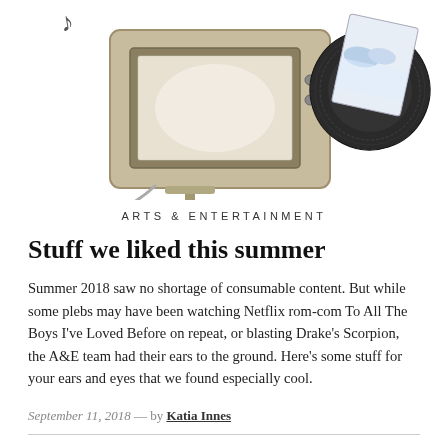[Figure (illustration): Watercolor illustration of a vintage television set with a vinyl record leaning against it, and a music note floating above, on a white background.]
ARTS & ENTERTAINMENT
Stuff we liked this summer
Summer 2018 saw no shortage of consumable content. But while some plebs may have been watching Netflix rom-com To All The Boys I've Loved Before on repeat, or blasting Drake's Scorpion, the A&E team had their ears to the ground. Here's some stuff for your ears and eyes that we found especially cool.
September 11, 2018  —  by Katia Innes